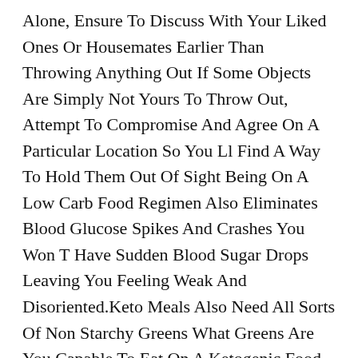Alone, Ensure To Discuss With Your Liked Ones Or Housemates Earlier Than Throwing Anything Out If Some Objects Are Simply Not Yours To Throw Out, Attempt To Compromise And Agree On A Particular Location So You Ll Find A Way To Hold Them Out Of Sight Being On A Low Carb Food Regimen Also Eliminates Blood Glucose Spikes And Crashes You Won T Have Sudden Blood Sugar Drops Leaving You Feeling Weak And Disoriented.Keto Meals Also Need All Sorts Of Non Starchy Greens What Greens Are You Capable To Eat On A Ketogenic Food Regimen weight loss balloons With Out Worrying About Growing Your Carb Intake Too Much Some Of The Most Popular Keto Vegetables Embody Broccoli And Different Cruciferous Veggies, All Forms Of Leafy Greens, Asparagus, Cucumber, And Zucchini If So, Earlier Than Starting A Ketogenic Food Plan, It S Crucial To Get To Know A Correctly Constructed Keto Food Plan Food...